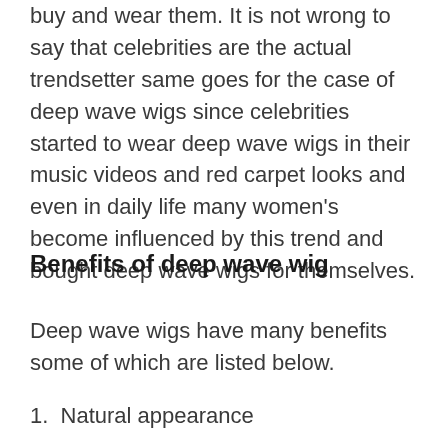buy and wear them. It is not wrong to say that celebrities are the actual trendsetter same goes for the case of deep wave wigs since celebrities started to wear deep wave wigs in their music videos and red carpet looks and even in daily life many women's become influenced by this trend and bought deep wave wigs for themselves.
Benefits of deep wave wig
Deep wave wigs have many benefits some of which are listed below.
1.  Natural appearance